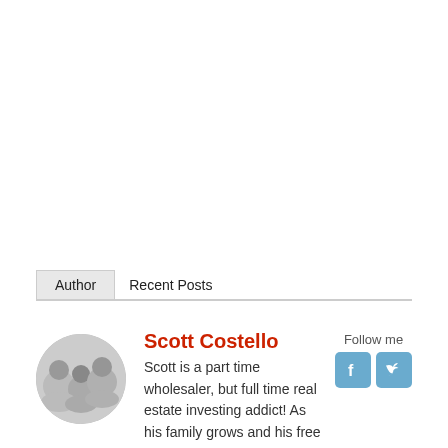Author | Recent Posts
[Figure (photo): Black and white circular photo of Scott Costello with family members]
Scott Costello
Scott is a part time wholesaler, but full time real estate investing addict! As his family grows and his free time shrinks,He has been slowing building his wholesaling business over the past 7 years in between life events.Drive, dedication and never giving up are his
Follow me